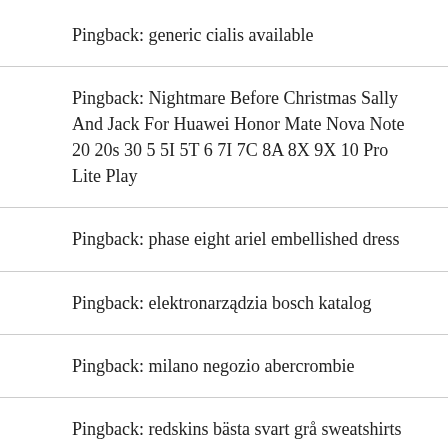Pingback: generic cialis available
Pingback: Nightmare Before Christmas Sally And Jack For Huawei Honor Mate Nova Note 20 20s 30 5 5I 5T 6 7I 7C 8A 8X 9X 10 Pro Lite Play
Pingback: phase eight ariel embellished dress
Pingback: elektronarzędzia bosch katalog
Pingback: milano negozio abercrombie
Pingback: redskins bästa svart grå sweatshirts herr